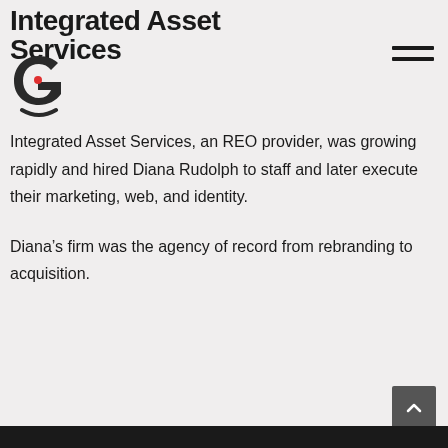Integrated Asset Services
[Figure (logo): Stylized lowercase letter 'g' logo in dark grey with a small red dot, representing Integrated Asset Services brand mark]
Integrated Asset Services, an REO provider, was growing rapidly and hired Diana Rudolph to staff and later execute their marketing, web, and identity.
Diana’s firm was the agency of record from rebranding to acquisition.